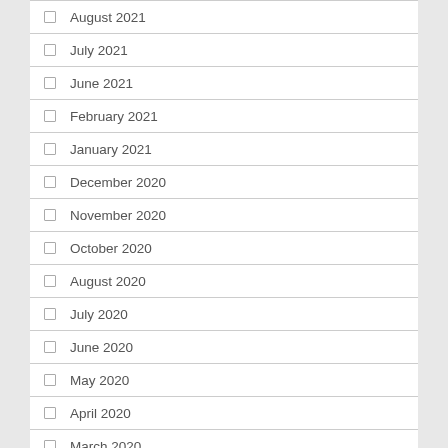August 2021
July 2021
June 2021
February 2021
January 2021
December 2020
November 2020
October 2020
August 2020
July 2020
June 2020
May 2020
April 2020
March 2020
February 2020